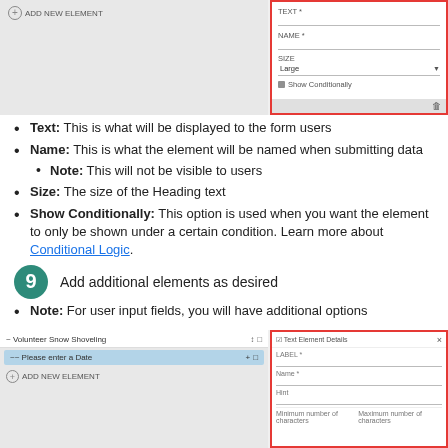[Figure (screenshot): Screenshot of form builder top panel showing left panel with add element button and right panel (red bordered) with Text, Name, Size (Large), and Show Conditionally fields]
Text: This is what will be displayed to the form users
Name: This is what the element will be named when submitting data
Note: This will not be visible to users
Size: The size of the Heading text
Show Conditionally: This option is used when you want the element to only be shown under a certain condition. Learn more about Conditional Logic.
9   Add additional elements as desired
Note: For user input fields, you will have additional options
[Figure (screenshot): Screenshot of form builder showing Volunteer Snow Shoveling form with a selected row and right panel (red bordered) showing Text Element Details with Label, Name, Hint fields and Minimum/Maximum number of characters]